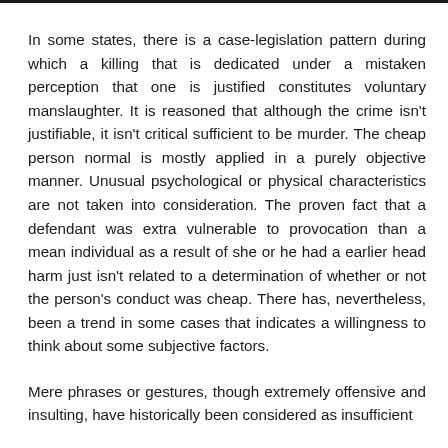In some states, there is a case-legislation pattern during which a killing that is dedicated under a mistaken perception that one is justified constitutes voluntary manslaughter. It is reasoned that although the crime isn't justifiable, it isn't critical sufficient to be murder. The cheap person normal is mostly applied in a purely objective manner. Unusual psychological or physical characteristics are not taken into consideration. The proven fact that a defendant was extra vulnerable to provocation than a mean individual as a result of she or he had a earlier head harm just isn't related to a determination of whether or not the person's conduct was cheap. There has, nevertheless, been a trend in some cases that indicates a willingness to think about some subjective factors.
Mere phrases or gestures, though extremely offensive and insulting, have historically been considered as insufficient